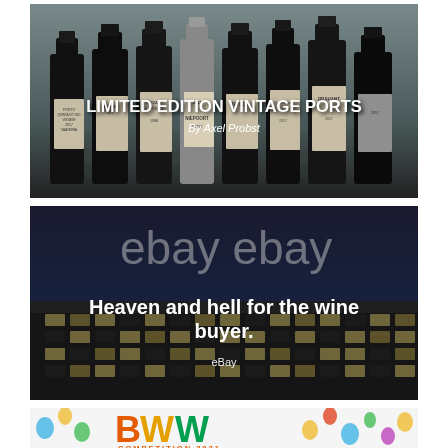[Figure (photo): Black and white photograph of several Port wine bottles lined up, with labels including Porto Quinta do Tedo Vintage 2017 Saavedra, Bordo, Herdade Esporao, 2017, Taylor, and Braaant. White text overlaid: 'LIMITED EDITION VINTAGE PORTS' and 'By Axel Probst'.]
[Figure (photo): Black and white photograph of an eBay building exterior at night, with large illuminated 'ebay ebay' signage on the rooftop. White text overlaid reads 'Heaven and hell for the wine buyer.' and 'eBay'.]
[Figure (photo): Partial view of a colorful BWW Competition 2021 banner/logo with balloons on a white background.]